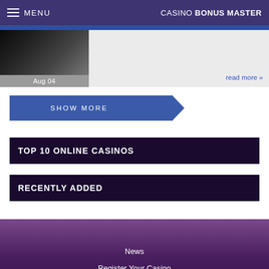MENU | CASINO BONUS MASTER
[Figure (photo): Partial image of a black object, article card with date Aug 04 and read more link]
read more »
SHOW MORE
TOP 10 ONLINE CASINOS
RECENTLY ADDED
News
Register Your Casino
Disclaimer
Privacy Statement